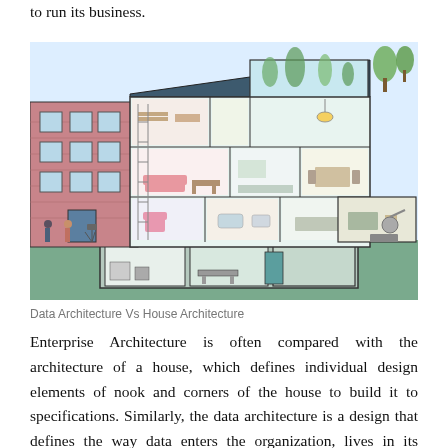to run its business.
[Figure (illustration): Cross-section illustration of a building showing multiple rooms and floors with furniture and people, representing Data Architecture Vs House Architecture. A pink brick building on the left and a modern glass building on the right, with interior rooms visible showing living spaces, offices, and basement.]
Data Architecture Vs House Architecture
Enterprise Architecture is often compared with the architecture of a house, which defines individual design elements of nook and corners of the house to build it to specifications. Similarly, the data architecture is a design that defines the way data enters the organization, lives in its systems and applications, moves within the